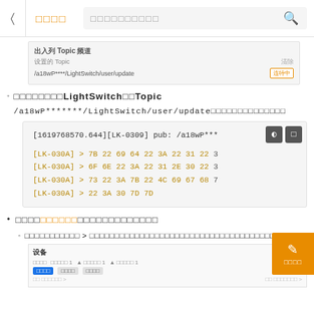| □□□□ □□□□□□□□□□ 🔍
[Figure (screenshot): UI screenshot showing 出入列 Topic 频道 modal dialog with 设置Topic label and URL field]
□□□□□□□□LightSwitch□□Topic /a18wP*******/LightSwitch/user/update□□□□□□□□□□□□□□
[Figure (screenshot): Code block showing LK-0309 pub log and LK-030A hex data lines]
□□□□□□□□□□□□□□□□□□□□□□□□□
□□□□□□□□□□□ > □□□□□□□□□□□□□□□□□□□□□□□□□□□□□□□□□□□□□□□□
[Figure (screenshot): 设备 device management UI screenshot]